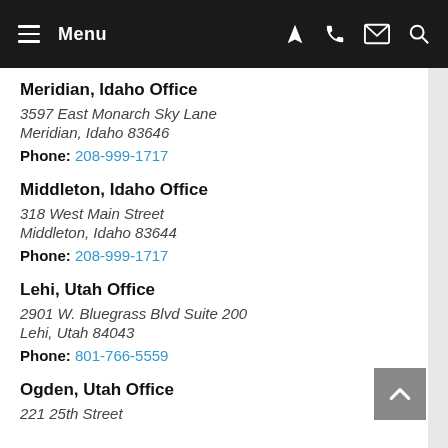Menu
Meridian, Idaho Office
3597 East Monarch Sky Lane
Meridian, Idaho 83646
Phone: 208-999-1717
Middleton, Idaho Office
318 West Main Street
Middleton, Idaho 83644
Phone: 208-999-1717
Lehi, Utah Office
2901 W. Bluegrass Blvd Suite 200
Lehi, Utah 84043
Phone: 801-766-5559
Ogden, Utah Office
221 25th Street